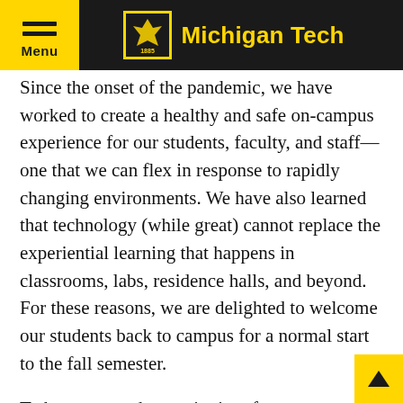Menu | Michigan Tech
Since the onset of the pandemic, we have worked to create a healthy and safe on-campus experience for our students, faculty, and staff—one that we can flex in response to rapidly changing environments. We have also learned that technology (while great) cannot replace the experiential learning that happens in classrooms, labs, residence halls, and beyond. For these reasons, we are delighted to welcome our students back to campus for a normal start to the fall semester.
To best ensure the continuity of campus operations, Michigan Tech strongly recommends that all employees and students receive the COVID-19 vaccine, especially in light of the virulence of the